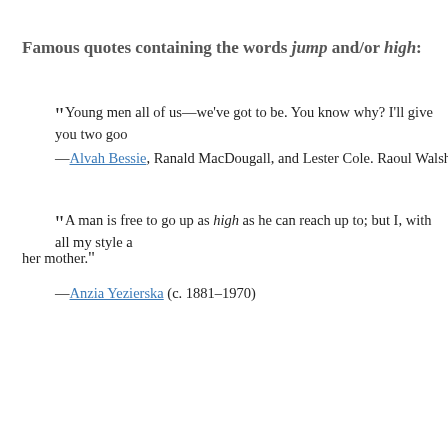Famous quotes containing the words jump and/or high:
“ Young men all of us—we’ve got to be. You know why? I’ll give you two goo—
—Alvah Bessie, Ranald MacDougall, and Lester Cole. Raoul Walsh. Captain N
“ A man is free to go up as high as he can reach up to; but I, with all my style a— her mother.”
—Anzia Yezierska (c. 1881–1970)